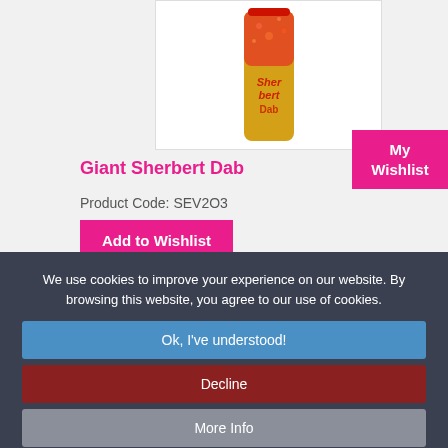[Figure (photo): A Giant Sherbert Dab product — a tall cylindrical yellow and orange candy container with red text, shown against a white background.]
My Wishlist
Giant Sherbert Dab
Product Code: SEV2O3
Add to Wishlist
We use cookies to improve your experience on our website. By browsing this website, you agree to our use of cookies.
Ok, I've understood!
Decline
More Info